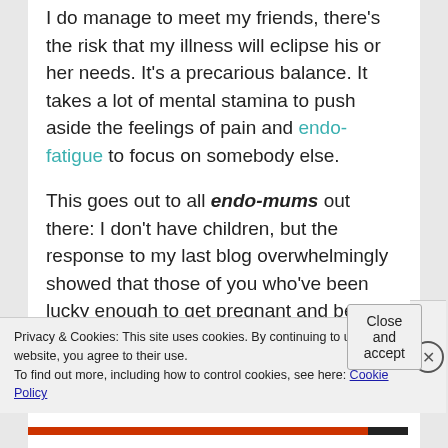I do manage to meet my friends, there's the risk that my illness will eclipse his or her needs. It's a precarious balance. It takes a lot of mental stamina to push aside the feelings of pain and endo-fatigue to focus on somebody else.
This goes out to all endo-mums out there: I don't have children, but the response to my last blog overwhelmingly showed that those of you who've been lucky enough to get pregnant and bear children are now struggling to bring them up. How can you prioritise your needs if you feel, as you naturally would, that your children need your attention more?
Privacy & Cookies: This site uses cookies. By continuing to use this website, you agree to their use.
To find out more, including how to control cookies, see here: Cookie Policy